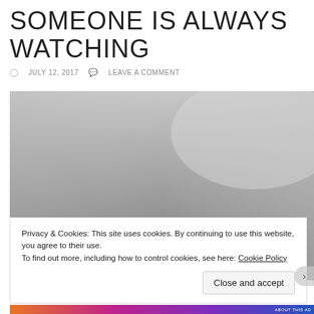SOMEONE IS ALWAYS WATCHING
JULY 12, 2017  LEAVE A COMMENT
[Figure (photo): Black and white photograph of a grey sky with a small dark bird silhouette near the bottom center of the frame]
Privacy & Cookies: This site uses cookies. By continuing to use this website, you agree to their use.
To find out more, including how to control cookies, see here: Cookie Policy
Close and accept